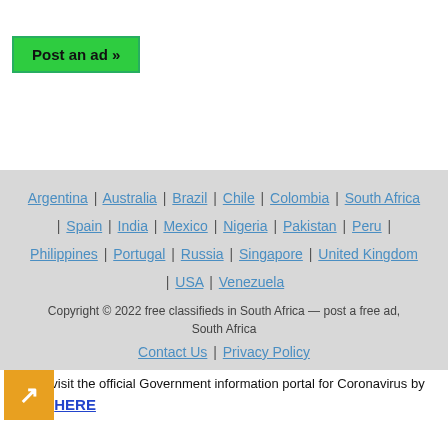Post an ad »
Argentina | Australia | Brazil | Chile | Colombia | South Africa | Spain | India | Mexico | Nigeria | Pakistan | Peru | Philippines | Portugal | Russia | Singapore | United Kingdom | USA | Venezuela
Copyright © 2022 free classifieds in South Africa — post a free ad, South Africa
Contact Us | Privacy Policy
Please visit the official Government information portal for Coronavirus by clicking HERE